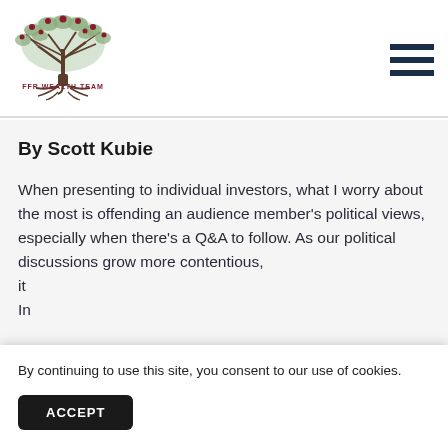[Figure (logo): FFR Wealth Team logo: illustrated tree with red berries and roots, text 'FFR WEALTH TEAM' in dark red below]
By Scott Kubie
When presenting to individual investors, what I worry about the most is offending an audience member's political views, especially when there's a Q&A to follow. As our political discussions grow more contentious, it... In... a...
By continuing to use this site, you consent to our use of cookies.
ACCEPT